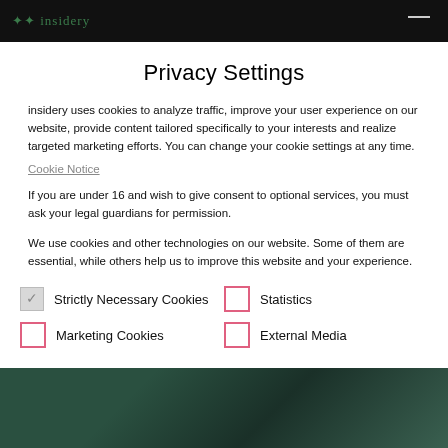insidery — navigation bar with logo and menu icon
Privacy Settings
insidery uses cookies to analyze traffic, improve your user experience on our website, provide content tailored specifically to your interests and realize targeted marketing efforts. You can change your cookie settings at any time.
Cookie Notice
If you are under 16 and wish to give consent to optional services, you must ask your legal guardians for permission.
We use cookies and other technologies on our website. Some of them are essential, while others help us to improve this website and your experience. Personal data may be processed (e.g. IP addresses), for example for personalized ads and content or ad
Strictly Necessary Cookies
Statistics
Marketing Cookies
External Media